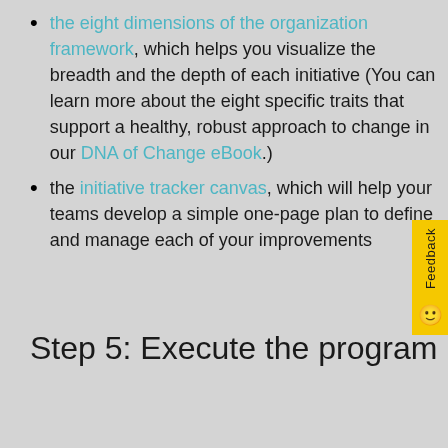the eight dimensions of the organization framework, which helps you visualize the breadth and the depth of each initiative (You can learn more about the eight specific traits that support a healthy, robust approach to change in our DNA of Change eBook.)
the initiative tracker canvas, which will help your teams develop a simple one-page plan to define and manage each of your improvements
Step 5: Execute the program
To bring your initiatives to life, you'll need three key elements:
A dashboard to track key objectives and measure success
A person or persons assigned to be accountable for the